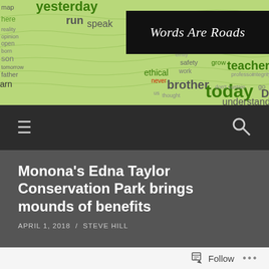[Figure (illustration): Website header banner with word cloud on green topographic map background and 'Words Are Roads' title in black box]
[Figure (screenshot): Dark navigation bar with hamburger menu icon on the left and search icon on the right]
Monona's Edna Taylor Conservation Park brings mounds of benefits
APRIL 1, 2018 / STEVE HILL
[Figure (photo): Outdoor photo showing bare winter trees against a blue sky]
Follow ...